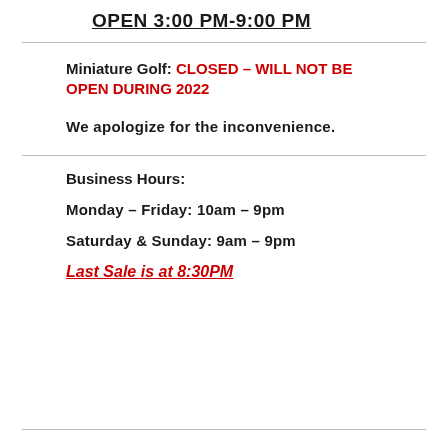OPEN 3:00 PM-9:00 PM
Miniature Golf: CLOSED – WILL NOT BE OPEN DURING 2022
We apologize for the inconvenience.
Business Hours:
Monday – Friday: 10am – 9pm
Saturday & Sunday: 9am – 9pm
Last Sale is at 8:30PM